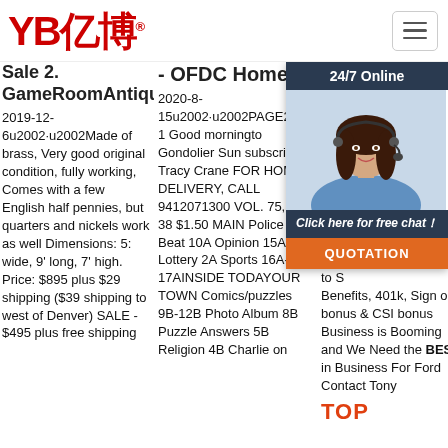[Figure (logo): YB亿博 logo in red with registered trademark symbol]
Sale 2. GameRoomAntiques.Com
2019-12-6u2002·u2002Made of brass, Very good original condition, fully working, Comes with a few English half pennies, but quarters and nickels work as well Dimensions: 5: wide, 9' long, 7' high. Price: $895 plus $29 shipping ($39 shipping to west of Denver) SALE - $495 plus free shipping
- OFDC Home
2020-8-15u2002·u2002PAGE22u 1 Good morningto Gondolier Sun subscriber Tracy Crane FOR HOME DELIVERY, CALL 9412071300 VOL. 75, NO. 38 $1.50 MAIN Police Beat 10A Opinion 15A Lottery 2A Sports 16A-17AINSIDE TODAYOUR TOWN Comics/puzzles 9B-12B Photo Album 8B Puzzle Answers 5B Religion 4B Charlie on
Home
201... Tur... SAl... We... 150... sto... Ce... to S... Te... B a... to S... Benefits, 401k, Sign on bonus & CSI bonus Business is Booming and We Need the BEST in Business For Ford Contact Tony
[Figure (infographic): 24/7 Online chat widget with woman photo, 'Click here for free chat!' text, and orange QUOTATION button]